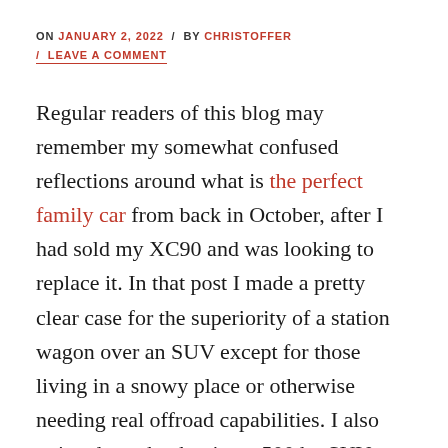ON JANUARY 2, 2022 / BY CHRISTOFFER / LEAVE A COMMENT
Regular readers of this blog may remember my somewhat confused reflections around what is the perfect family car from back in October, after I had sold my XC90 and was looking to replace it. In that post I made a pretty clear case for the superiority of a station wagon over an SUV except for those living in a snowy place or otherwise needing real offroad capabilities. I also pointed out that buying a 500 hp SUV doesn't make much sense at all given such an engine comes more to its right in a car with a lower center of gravity – i.e. a station wagon. Well, what can I say? I've replaced the XC90, that much is true, but somehow I forgot the